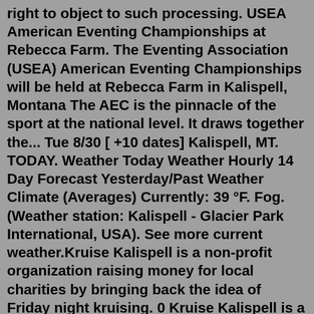right to object to such processing. USEA American Eventing Championships at Rebecca Farm. The Eventing Association (USEA) American Eventing Championships will be held at Rebecca Farm in Kalispell, Montana The AEC is the pinnacle of the sport at the national level. It draws together the... Tue 8/30 [ +10 dates] Kalispell, MT. TODAY. Weather Today Weather Hourly 14 Day Forecast Yesterday/Past Weather Climate (Averages) Currently: 39 °F. Fog. (Weather station: Kalispell - Glacier Park International, USA). See more current weather.Kruise Kalispell is a non-profit organization raising money for local charities by bringing back the idea of Friday night kruising. 0 Kruise Kalispell is a registered 501(c)3 KALISPELL, MT ·1 DAY AGO Flathead Beacon Man Arrested Following Altercation Involving a Pipe and Firearm A man was arrested Wednesday night on an assault with a weapon charge after he allegedly fired shots during an argument in Evergreen, according to a Flathead County Sheriff's Office... and more Recommends with the content